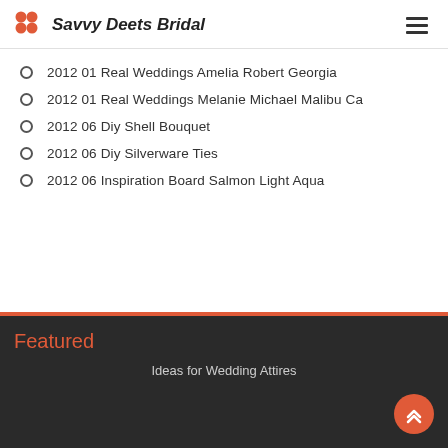Savvy Deets Bridal
2012 01 Real Weddings Amelia Robert Georgia
2012 01 Real Weddings Melanie Michael Malibu Ca
2012 06 Diy Shell Bouquet
2012 06 Diy Silverware Ties
2012 06 Inspiration Board Salmon Light Aqua
Featured
Ideas for Wedding Attires